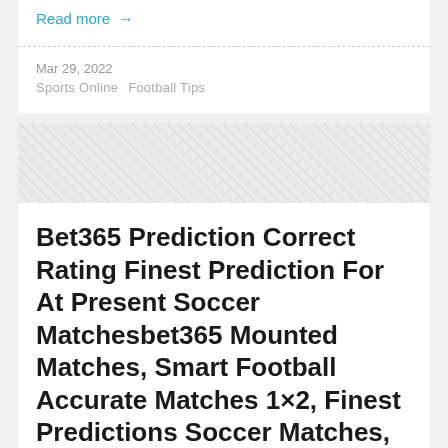Read more →
Mar 29, 2022
Sports Online   Football Tips
[Figure (photo): Decorative crosshatch/checkered pattern image placeholder]
Bet365 Prediction Correct Rating Finest Prediction For At Present Soccer Matchesbet365 Mounted Matches, Smart Football Accurate Matches 1×2, Finest Predictions Soccer Matches, Finest Soccer Betting Predictions, Best Soccer